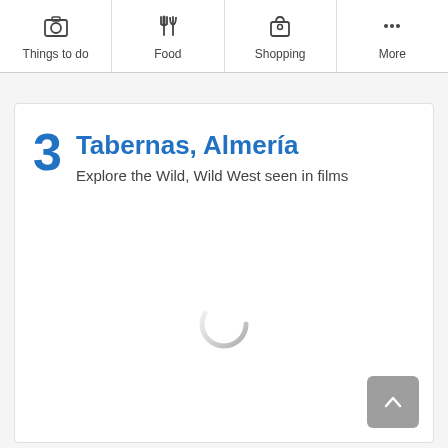Things to do | Food | Shopping | More
3 Tabernas, Almería
Explore the Wild, Wild West seen in films
[Figure (other): Loading spinner / circular progress indicator in the center of the card]
[Figure (other): Back to top button with upward chevron arrow, gray rounded rectangle in bottom-right corner]